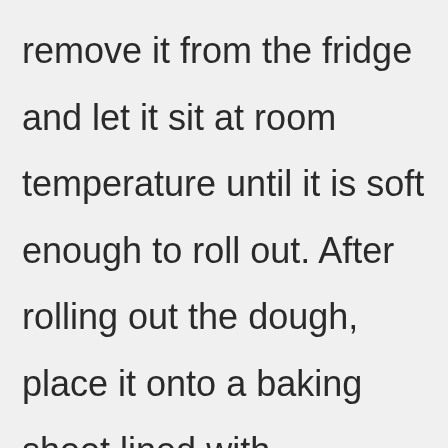remove it from the fridge and let it sit at room temperature until it is soft enough to roll out. After rolling out the dough, place it onto a baking sheet lined with parchment paper. Spread the sauce evenly across the surface of the dough and top it with cheese. Bake it in the oven for 10 to 15 minutes or